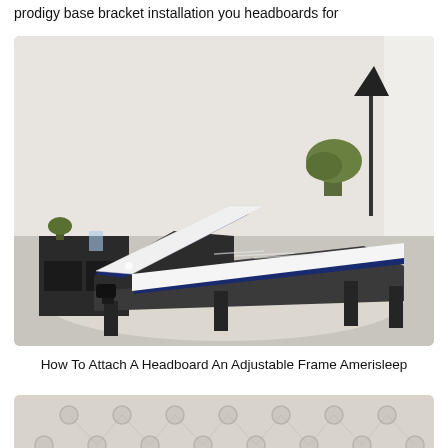prodigy base bracket installation you headboards for
[Figure (photo): An adjustable bed base with a white and navy blue mattress elevated at the head and foot sections, set in a modern bedroom with dark wood nightstand, plant, and floor lamp.]
How To Attach A Headboard An Adjustable Frame Amerisleep
[Figure (photo): Close-up of a tufted white/light grey headboard with button details.]